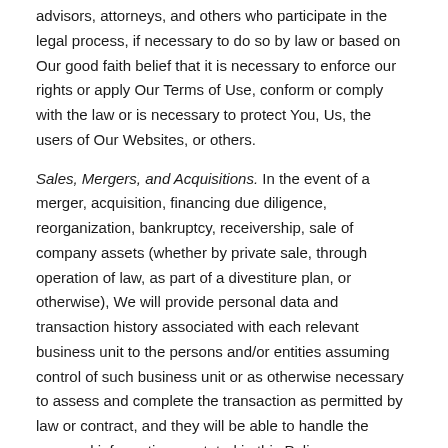advisors, attorneys, and others who participate in the legal process, if necessary to do so by law or based on Our good faith belief that it is necessary to enforce our rights or apply Our Terms of Use, conform or comply with the law or is necessary to protect You, Us, the users of Our Websites, or others.
Sales, Mergers, and Acquisitions. In the event of a merger, acquisition, financing due diligence, reorganization, bankruptcy, receivership, sale of company assets (whether by private sale, through operation of law, as part of a divestiture plan, or otherwise), We will provide personal data and transaction history associated with each relevant business unit to the persons and/or entities assuming control of such business unit or as otherwise necessary to assess and complete the transaction as permitted by law or contract, and they will be able to handle the personal information as stated in this Policy.
Data Protection
We are committed to protecting the personal data You share with